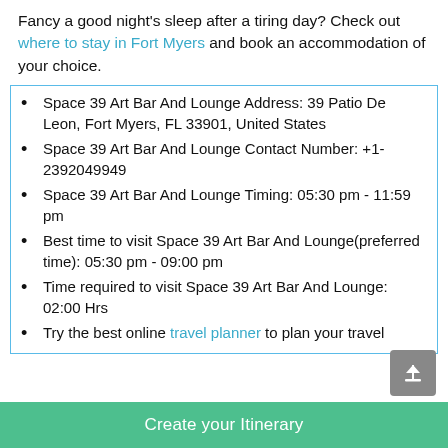Fancy a good night's sleep after a tiring day? Check out where to stay in Fort Myers and book an accommodation of your choice.
Space 39 Art Bar And Lounge Address: 39 Patio De Leon, Fort Myers, FL 33901, United States
Space 39 Art Bar And Lounge Contact Number: +1-2392049949
Space 39 Art Bar And Lounge Timing: 05:30 pm - 11:59 pm
Best time to visit Space 39 Art Bar And Lounge(preferred time): 05:30 pm - 09:00 pm
Time required to visit Space 39 Art Bar And Lounge: 02:00 Hrs
Try the best online travel planner to plan your travel
Create your Itinerary